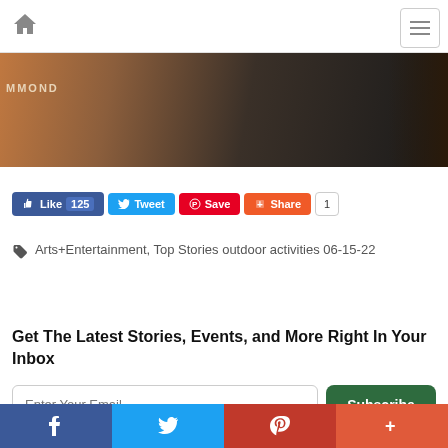Home menu navigation bar
[Figure (photo): Dark photo showing a brown/orange keyboard or instrument case with text 'MMOND' visible, surrounded by dark figures and equipment in the background.]
Like 125  Tweet  Save  Share  1
Arts+Entertainment, Top Stories outdoor activities 06-15-22
Get The Latest Stories, Events, and More Right In Your Inbox
Enter Your Email  Subscribe
Facebook  Twitter  Pinterest  Plus